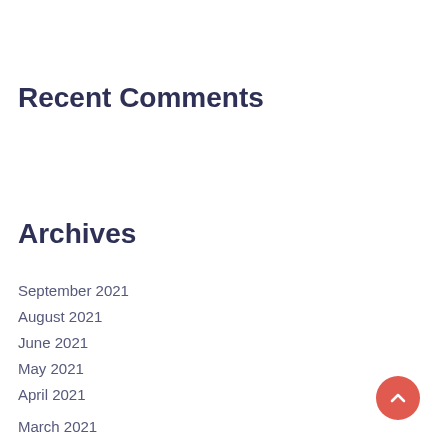Recent Comments
Archives
September 2021
August 2021
June 2021
May 2021
April 2021
March 2021